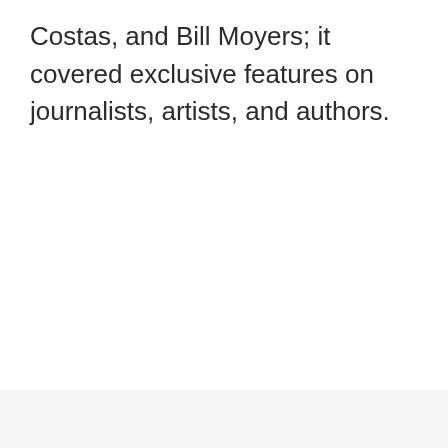Costas, and Bill Moyers; it covered exclusive features on journalists, artists, and authors.
7  He was the Senior Vice